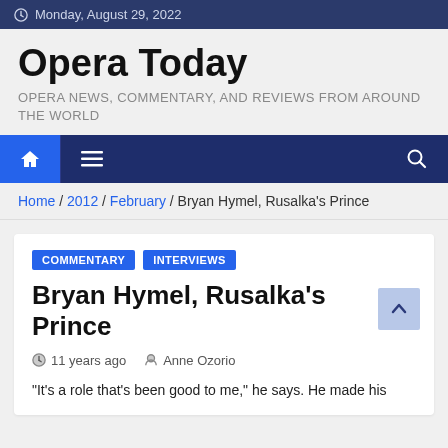Monday, August 29, 2022
Opera Today
OPERA NEWS, COMMENTARY, AND REVIEWS FROM AROUND THE WORLD
Home / 2012 / February / Bryan Hymel, Rusalka's Prince
COMMENTARY  INTERVIEWS
Bryan Hymel, Rusalka's Prince
11 years ago   Anne Ozorio
“It's a role that's been good to me,” he says. He made his